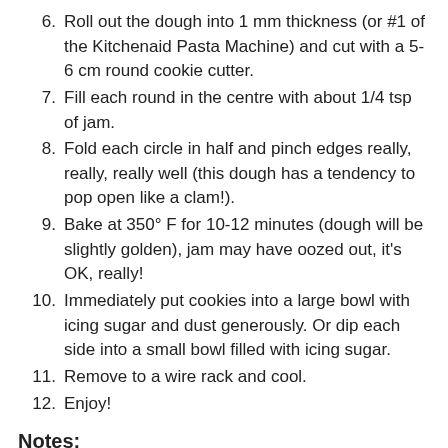6. Roll out the dough into 1 mm thickness (or #1 of the Kitchenaid Pasta Machine) and cut with a 5-6 cm round cookie cutter.
7. Fill each round in the centre with about 1/4 tsp of jam.
8. Fold each circle in half and pinch edges really, really, really well (this dough has a tendency to pop open like a clam!).
9. Bake at 350° F for 10-12 minutes (dough will be slightly golden), jam may have oozed out, it's OK, really!
10. Immediately put cookies into a large bowl with icing sugar and dust generously. Or dip each side into a small bowl filled with icing sugar.
11. Remove to a wire rack and cool.
12. Enjoy!
Notes: